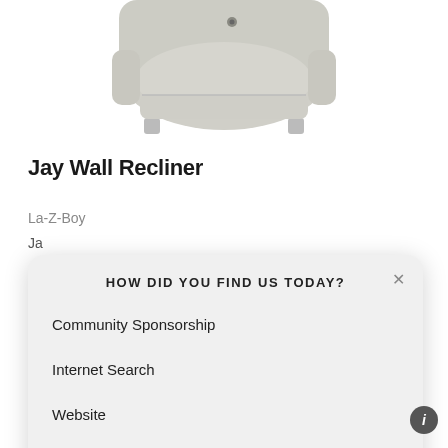[Figure (photo): Partial view of a La-Z-Boy Jay Wall Recliner chair, light gray/beige upholstery, viewed from above-front angle, cropped at top of page]
Jay Wall Recliner
La-Z-Boy
Ja
HOW DID YOU FIND US TODAY?
Community Sponsorship
Internet Search
Website
Other (please specify)
SUBMIT